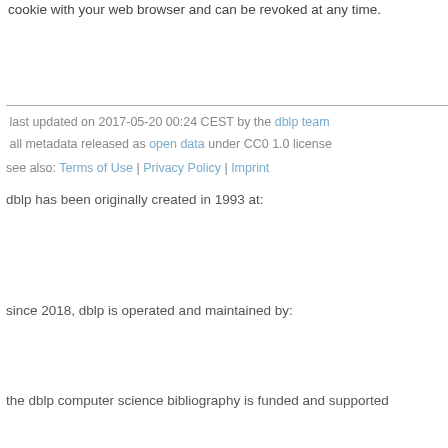cookie with your web browser and can be revoked at any time.
last updated on 2017-05-20 00:24 CEST by the dblp team
all metadata released as open data under CC0 1.0 license
see also: Terms of Use | Privacy Policy | Imprint
dblp has been originally created in 1993 at:
since 2018, dblp is operated and maintained by:
the dblp computer science bibliography is funded and supported